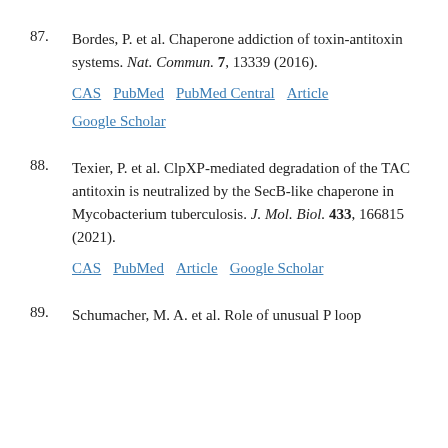87. Bordes, P. et al. Chaperone addiction of toxin-antitoxin systems. Nat. Commun. 7, 13339 (2016).
CAS  PubMed  PubMed Central  Article  Google Scholar
88. Texier, P. et al. ClpXP-mediated degradation of the TAC antitoxin is neutralized by the SecB-like chaperone in Mycobacterium tuberculosis. J. Mol. Biol. 433, 166815 (2021).
CAS  PubMed  Article  Google Scholar
89. Schumacher, M. A. et al. Role of unusual P loop